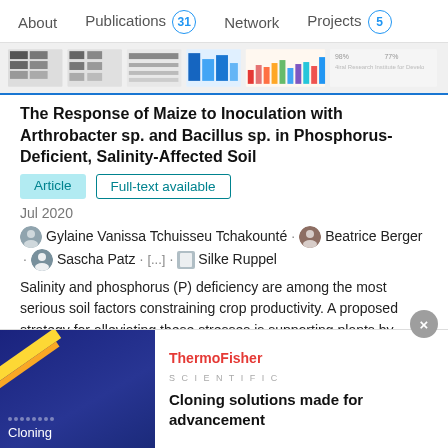About  Publications 31  Network  Projects 5
[Figure (screenshot): Thumbnail strip of research paper figures and charts with blue bottom border]
The Response of Maize to Inoculation with Arthrobacter sp. and Bacillus sp. in Phosphorus-Deficient, Salinity-Affected Soil
Article  Full-text available
Jul 2020
Gylaine Vanissa Tchuisseu Tchakounté · Beatrice Berger · Sascha Patz · [...] · Silke Ruppel
Salinity and phosphorus (P) deficiency are among the most serious soil factors constraining crop productivity. A proposed strategy for alleviating these stresses is supporting plants by inoculation with growth-promoting rhizobacteria (PGPR). Here, a comparison of the ability of two maize composite and two F1
[Figure (screenshot): ThermoFisher Scientific advertisement banner - Cloning solutions made for advancement]